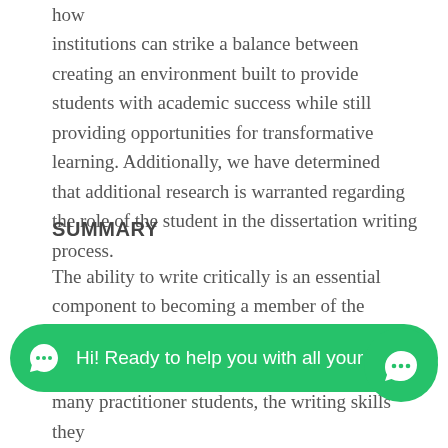how institutions can strike a balance between creating an environment built to provide students with academic success while still providing opportunities for transformative learning. Additionally, we have determined that additional research is warranted regarding the role of the student in the dissertation writing process.
SUMMARY
The ability to write critically is an essential component to becoming a member of the academic community and, therefore, doctoral programs
many practitioner students, the writing skills they